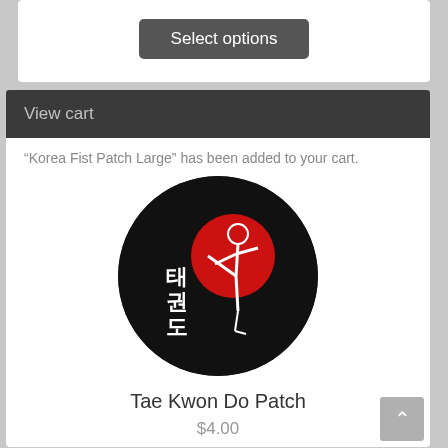Select options
View cart
“Korea Fist Patch Large” has been added to your cart.
[Figure (photo): Circular embroidered Tae Kwon Do patch on black background featuring a martial artist in a kicking pose with Korean characters (태권도) and a red circular design element]
Tae Kwon Do Patch
$4.00